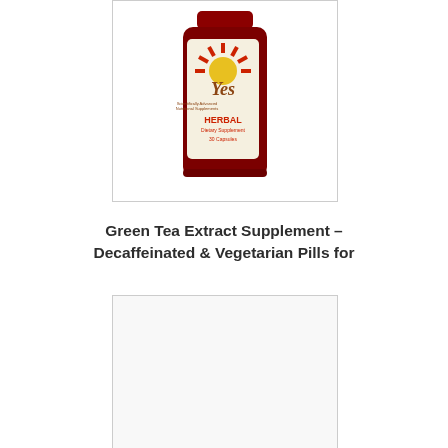[Figure (photo): A red pill bottle with a white label showing the 'Yes' brand logo with a sun design, labeled 'Scientifically Advanced Nutritional Supplements', 'HERBAL Dietary Supplement 30 Capsules']
Green Tea Extract Supplement – Decaffeinated & Vegetarian Pills for
[Figure (photo): A second product image, partially visible, appears to be a supplement product]